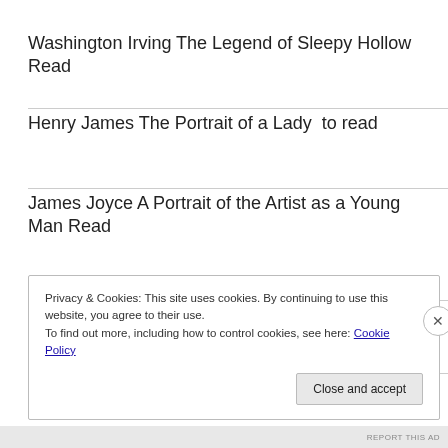Washington Irving The Legend of Sleepy Hollow  Read
Henry James The Portrait of a Lady  to read
James Joyce A Portrait of the Artist as a Young Man Read
D.H Lawrence Sons and Lovers Read
Gaston Leroux The Phantom of the Opera
Privacy & Cookies: This site uses cookies. By continuing to use this website, you agree to their use. To find out more, including how to control cookies, see here: Cookie Policy
REPORT THIS AD